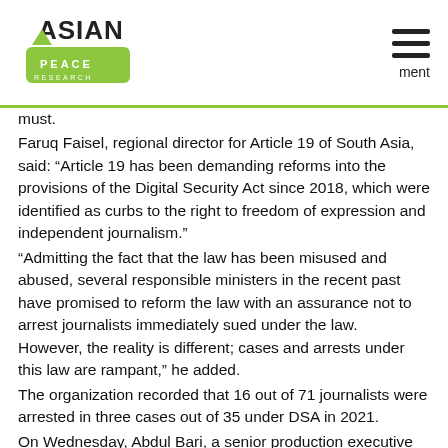Asian Peace Research [logo] | hamburger menu | ment
must.
Faruq Faisel, regional director for Article 19 of South Asia, said: “Article 19 has been demanding reforms into the provisions of the Digital Security Act since 2018, which were identified as curbs to the right to freedom of expression and independent journalism.”
“Admitting the fact that the law has been misused and abused, several responsible ministers in the recent past have promised to reform the law with an assurance not to arrest journalists immediately sued under the law.  However, the reality is different; cases and arrests under this law are rampant,” he added.
The organization recorded that 16 out of 71 journalists were arrested in three cases out of 35 under DSA in 2021.
On Wednesday, Abdul Bari, a senior production executive of DBC News, was found dead with marks of stabbing on his chest and neck in a bush on the bank of Hatirjheel Lake in the capital.
Meanwhile, it has recorded 62 incidents of